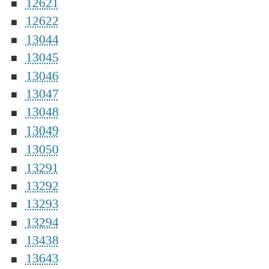12621
12622
13044
13045
13046
13047
13048
13049
13050
13291
13292
13293
13294
13438
13643
13644